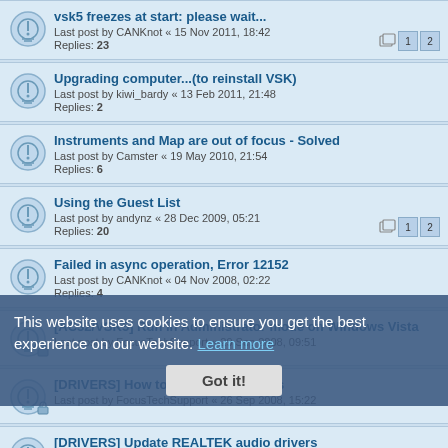vsk5 freezes at start: please wait... Last post by CANKnot « 15 Nov 2011, 18:42 Replies: 23
Upgrading computer...(to reinstall VSK) Last post by kiwi_bardy « 13 Feb 2011, 21:48 Replies: 2
Instruments and Map are out of focus - Solved Last post by Camster « 19 May 2010, 21:54 Replies: 6
Using the Guest List Last post by andynz « 28 Dec 2009, 05:21 Replies: 20
Failed in async operation, Error 12152 Last post by CANKnot « 04 Nov 2008, 02:22 Replies: 4
[AC32/VSK5] Run in Administrator mode on Windows Vista Last post by FocusTechSupport « 29 Sep 2008, 09:51
[DRIVERS] How to clean up Windows Last post by FocusTechSupport « 26 Sep 2008, 15:22
[DRIVERS] Update REALTEK audio drivers Last post by FocusTechSupport « 24 Sep 2008, 15:50
[DRIVERS] Drivers problem: how to clean up Windows Last post by FocusTechSupport « 17 Jun 2008, 15:58
[VISTA] Service Pack 1 update for Windows Vista
This website uses cookies to ensure you get the best experience on our website. Learn more
Got it!